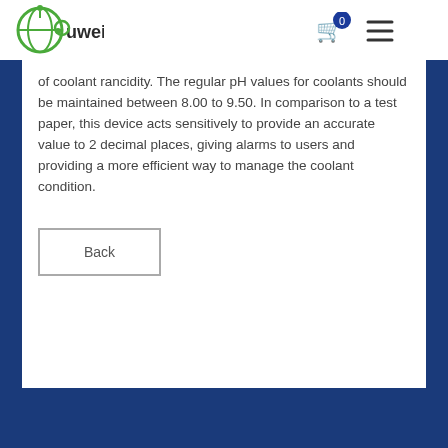[Figure (logo): Ouwei brand logo — green circular icon with globe motif and green/dark text 'ouwei']
[Figure (other): Shopping cart icon with blue circle badge showing '0', and hamburger menu icon (three horizontal lines)]
of coolant rancidity. The regular pH values for coolants should be maintained between 8.00 to 9.50. In comparison to a test paper, this device acts sensitively to provide an accurate value to 2 decimal places, giving alarms to users and providing a more efficient way to manage the coolant condition.
Back